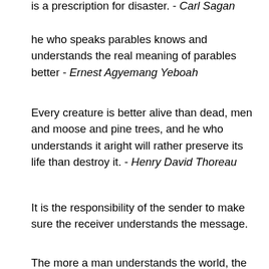is a prescription for disaster. - Carl Sagan
he who speaks parables knows and understands the real meaning of parables better - Ernest Agyemang Yeboah
Every creature is better alive than dead, men and moose and pine trees, and he who understands it aright will rather preserve its life than destroy it. - Henry David Thoreau
It is the responsibility of the sender to make sure the receiver understands the message.
The more a man understands the world, the more he falls in love with everyone and